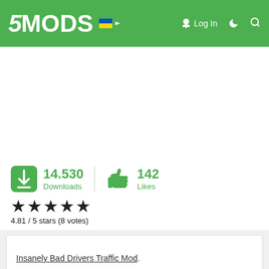5MODS — Log In
[Figure (screenshot): White advertisement/banner area]
14.530 Downloads  142 Likes
4.81 / 5 stars (8 votes)
Insanely Bad Drivers Traffic Mod.

Follow me on twitter and check out my youtube channel!

E-Z Install! Just 1 file!!

Do you feel like people are a bit too safe on the road in GTA V? Or not safe enough? Or maybe way too safe? Who needs